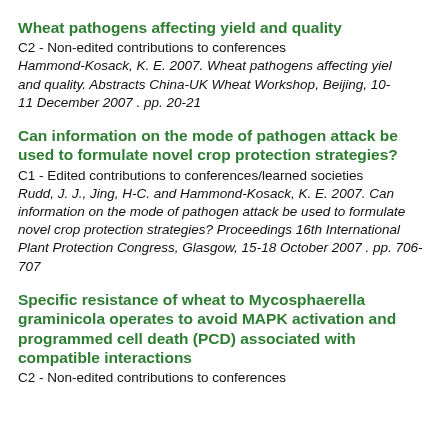Wheat pathogens affecting yield and quality
C2 - Non-edited contributions to conferences
Hammond-Kosack, K. E. 2007. Wheat pathogens affecting yield and quality. Abstracts China-UK Wheat Workshop, Beijing, 10-11 December 2007 . pp. 20-21
Can information on the mode of pathogen attack be used to formulate novel crop protection strategies?
C1 - Edited contributions to conferences/learned societies
Rudd, J. J., Jing, H-C. and Hammond-Kosack, K. E. 2007. Can information on the mode of pathogen attack be used to formulate novel crop protection strategies? Proceedings 16th International Plant Protection Congress, Glasgow, 15-18 October 2007 . pp. 706-707
Specific resistance of wheat to Mycosphaerella graminicola operates to avoid MAPK activation and programmed cell death (PCD) associated with compatible interactions
C2 - Non-edited contributions to conferences